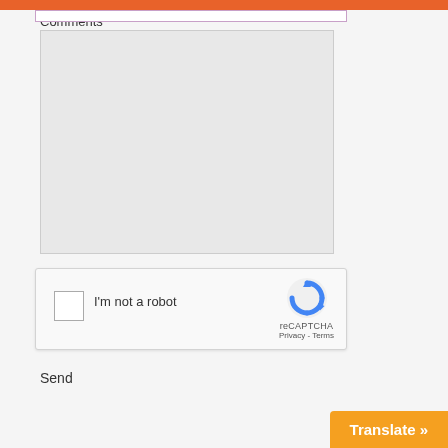Comments
[Figure (screenshot): Empty textarea input field with light gray background]
[Figure (screenshot): reCAPTCHA widget with checkbox labeled I'm not a robot, reCAPTCHA logo, Privacy and Terms links]
Send
Translate »